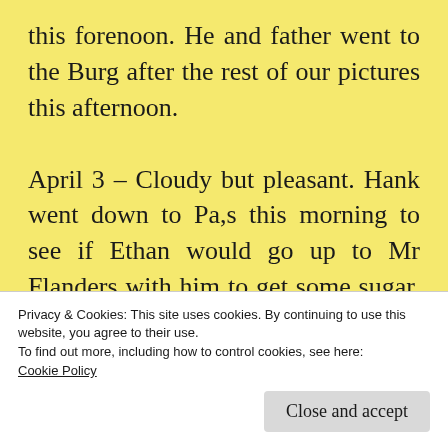this forenoon. He and father went to the Burg after the rest of our pictures this afternoon.

April 3 – Cloudy but pleasant. Hank went down to Pa,s this morning to see if Ethan would go up to Mr Flanders with him to get some sugar. They went. Hank brought some home with him and Mother sugared it off. Henry went to Elkhart to day. Aunt Mary Crawford[86] came to our house to day. Father went to Mr Lappins auction. He bought a plow.
Privacy & Cookies: This site uses cookies. By continuing to use this website, you agree to their use.
To find out more, including how to control cookies, see here:
Cookie Policy
this afternoon.